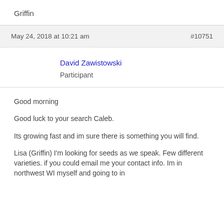Griffin
May 24, 2018 at 10:21 am
#10751
David Zawistowski
Participant
Good morning
Good luck to your search Caleb.
Its growing fast and im sure there is something you will find.
Lisa (Griffin) I'm looking for seeds as we speak. Few different varieties. if you could email me your contact info. Im in northwest WI myself and going to in